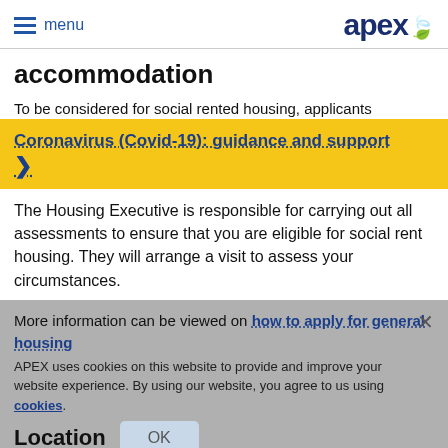menu | apex
accommodation
To be considered for social rented housing, applicants
[Figure (other): Yellow banner with blue link text: Coronavirus (Covid-19): guidance and support with arrow chevron]
The Housing Executive is responsible for carrying out all assessments to ensure that you are eligible for social rent housing. They will arrange a visit to assess your circumstances.
More information can be viewed on how to apply for general housing
APEX uses cookies on this website to provide and improve your website experience. By using our website, you agree to us using cookies.
Location